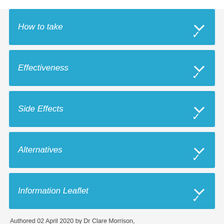How to take
Effectiveness
Side Effects
Alternatives
Information Leaflet
Authored 02 April 2020 by Dr Clare Morrison,
Reviewed 02 April 2020 by Liyya Patel, Siobhan Titre
Last updated 02 April 2020